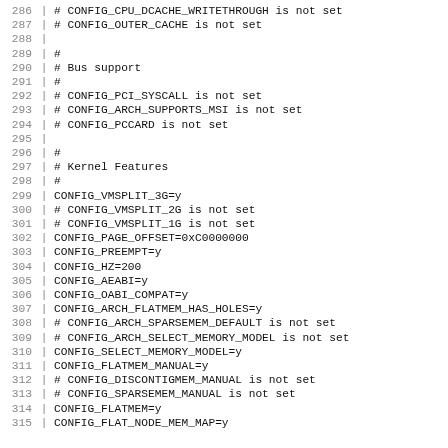286 # CONFIG_CPU_DCACHE_WRITETHROUGH is not set
287 # CONFIG_OUTER_CACHE is not set
288
289 #
290 # Bus support
291 #
292 # CONFIG_PCI_SYSCALL is not set
293 # CONFIG_ARCH_SUPPORTS_MSI is not set
294 # CONFIG_PCCARD is not set
295
296 #
297 # Kernel Features
298 #
299 CONFIG_VMSPLIT_3G=y
300 # CONFIG_VMSPLIT_2G is not set
301 # CONFIG_VMSPLIT_1G is not set
302 CONFIG_PAGE_OFFSET=0xC0000000
303 CONFIG_PREEMPT=y
304 CONFIG_HZ=200
305 CONFIG_AEABI=y
306 CONFIG_OABI_COMPAT=y
307 CONFIG_ARCH_FLATMEM_HAS_HOLES=y
308 # CONFIG_ARCH_SPARSEMEM_DEFAULT is not set
309 # CONFIG_ARCH_SELECT_MEMORY_MODEL is not set
310 CONFIG_SELECT_MEMORY_MODEL=y
311 CONFIG_FLATMEM_MANUAL=y
312 # CONFIG_DISCONTIGMEM_MANUAL is not set
313 # CONFIG_SPARSEMEM_MANUAL is not set
314 CONFIG_FLATMEM=y
315 CONFIG_FLAT_NODE_MEM_MAP=y